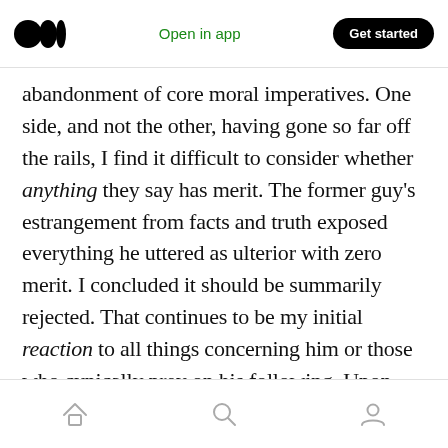Open in app | Get started
abandonment of core moral imperatives. One side, and not the other, having gone so far off the rails, I find it difficult to consider whether anything they say has merit. The former guy's estrangement from facts and truth exposed everything he uttered as ulterior with zero merit. I concluded it should be summarily rejected. That continues to be my initial reaction to all things concerning him or those who cynically prey on his following. Upon deeper analysis — taking into consideration any discernable substance that might, in fact, improve the lives of people in the
Home Search Profile